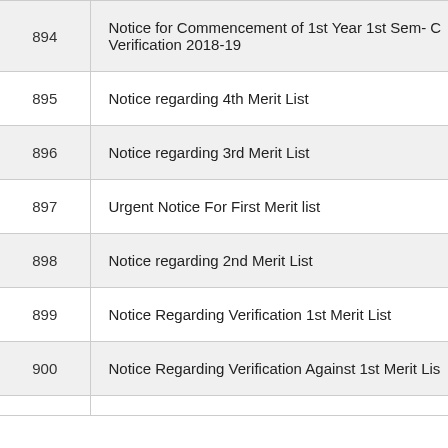| # | Title |
| --- | --- |
| 894 | Notice for Commencement of 1st Year 1st Sem- C Verification 2018-19 |
| 895 | Notice regarding 4th Merit List |
| 896 | Notice regarding 3rd Merit List |
| 897 | Urgent Notice For First Merit list |
| 898 | Notice regarding 2nd Merit List |
| 899 | Notice Regarding Verification 1st Merit List |
| 900 | Notice Regarding Verification Against 1st Merit Lis |